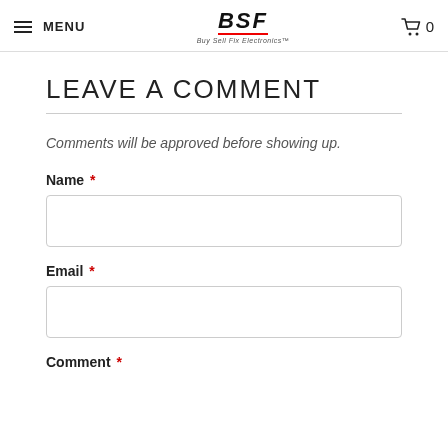MENU | BSF Buy Sell Fix Electronics | 0
LEAVE A COMMENT
Comments will be approved before showing up.
Name *
Email *
Comment *